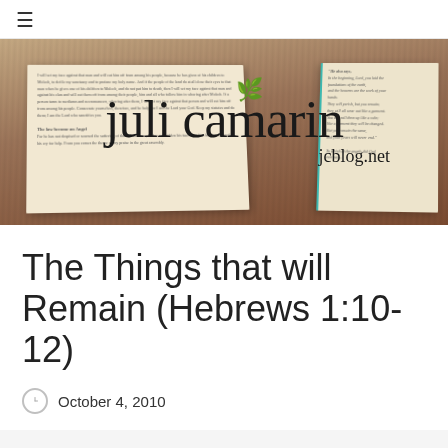≡ (hamburger menu)
[Figure (photo): Blog header banner showing an open Bible on a wooden surface with the 'juli camarin / jcblog.net' logo overlaid on top]
The Things that will Remain (Hebrews 1:10-12)
October 4, 2010